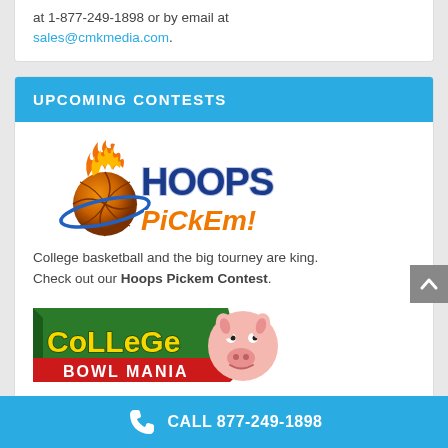at 1-877-249-1898 or by email at sales@cmkmedia.com.
UPCOMING CONTESTS
[Figure (logo): Hoops Pickem! logo — basketball on fire with orbital ring, 'HOOPS' in blue bold text, 'PiCkEm!' in orange bold italic text]
College basketball and the big tourney are king. Check out our Hoops Pickem Contest.
[Figure (logo): College Bowl Mania logo — green banner with yellow 'CoLLeGe' text and red 'BOWL MANIA' text, cartoon pig face on right]
CALL 877-249-1898